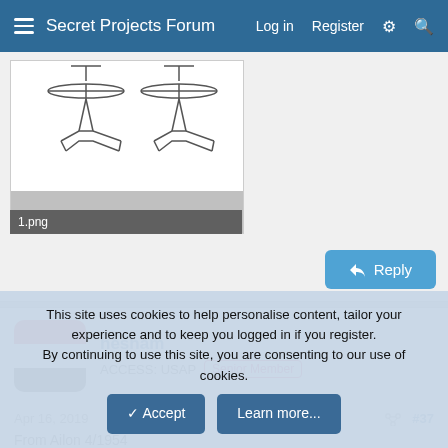Secret Projects Forum  Log in  Register
[Figure (illustration): Technical line drawing of two aircraft (helicopter/gyroplane) designs suspended from above, shown side by side against white background. Labeled '1.png' at bottom.]
Reply
hesham
ACCESS: USAP  Senior Member
Apr 16, 2019  #37
From Ailon 4/1954
This site uses cookies to help personalise content, tailor your experience and to keep you logged in if you register.
By continuing to use this site, you are consenting to our use of cookies.
Accept  Learn more...